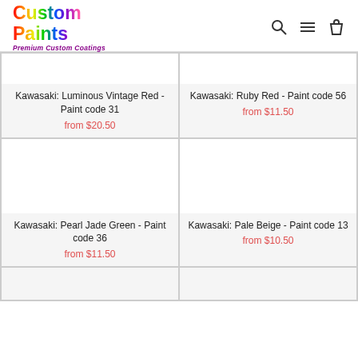Custom Paints - Premium Custom Coatings
Kawasaki: Luminous Vintage Red - Paint code 31
from $20.50
Kawasaki: Ruby Red - Paint code 56
from $11.50
Kawasaki: Pearl Jade Green - Paint code 36
from $11.50
Kawasaki: Pale Beige - Paint code 13
from $10.50